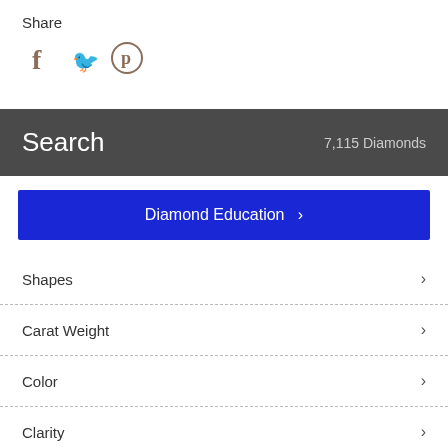Share
[Figure (illustration): Social share icons: Facebook (f), Twitter (bird), Pinterest (p)]
Search  7,115 Diamonds
Diamond Education >
Shapes >
Carat Weight >
Color >
Clarity >
Cut >